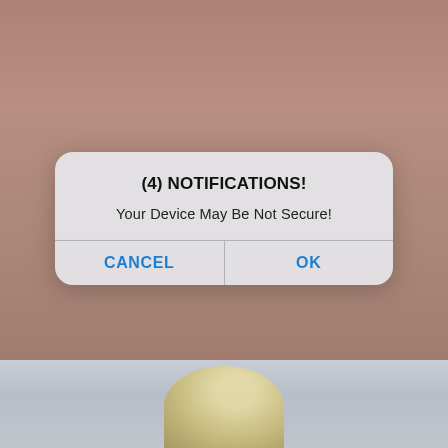[Figure (screenshot): Background showing a blurred photo scene, overlaid by an iOS-style browser notification dialog. The dialog reads '(4) NOTIFICATIONS!' and 'Your Device May Be Not Secure!' with CANCEL and OK buttons. Below the dialog a second background image section is visible.]
(4) NOTIFICATIONS!
Your Device May Be Not Secure!
CANCEL
OK